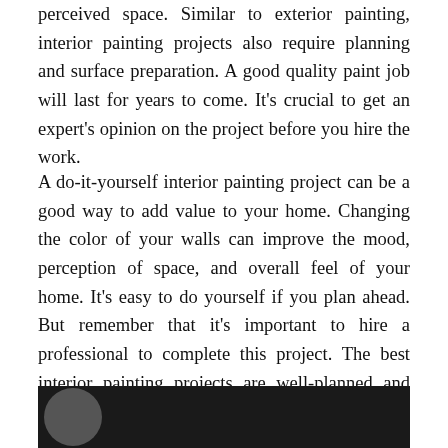atmosphere by improving the mood, lighting, and perceived space. Similar to exterior painting, interior painting projects also require planning and surface preparation. A good quality paint job will last for years to come. It's crucial to get an expert's opinion on the project before you hire the work.
A do-it-yourself interior painting project can be a good way to add value to your home. Changing the color of your walls can improve the mood, perception of space, and overall feel of your home. It's easy to do yourself if you plan ahead. But remember that it's important to hire a professional to complete this project. The best interior painting projects are well-planned and have a professional do the job right the first time.
[Figure (photo): Dark background image showing partial view of a person, cropped at bottom of page]